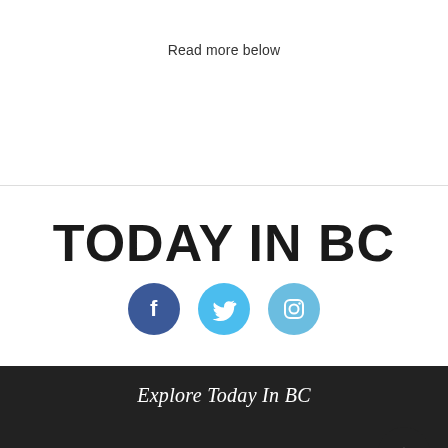Read more below
TODAY IN BC
[Figure (illustration): Three social media icons: Facebook (dark blue circle with 'f'), Twitter (light blue circle with bird), Instagram (light blue circle with camera)]
Explore Today In BC
NEWS
SPORTS
OPINION
VIDEOS